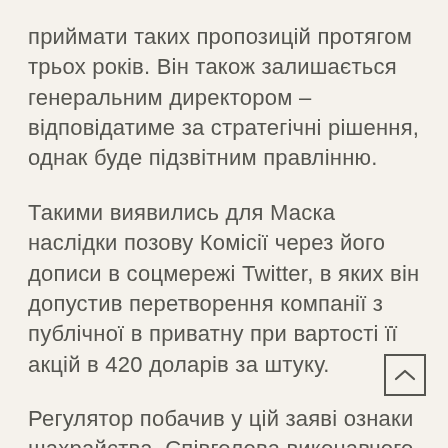приймати таких пропозицій протягом трьох років. Він також залишається генеральним директором – відповідатиме за стратегічні рішення, однак буде підзвітним правлінню.
Такими виявились для Маска наслідки позову Комісії через його дописи в соцмережі Twitter, в яких він допустив перетворення компанії з публічної в приватну при вартості її акцій в 420 доларів за штуку.
Регулятор побачив у цій заяві ознаки шахрайства. Співголова виконавчого